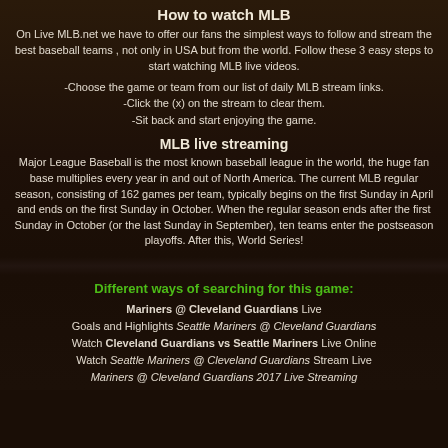How to watch MLB
On Live MLB.net we have to offer our fans the simplest ways to follow and stream the best baseball teams , not only in USA but from the world. Follow these 3 easy steps to start watching MLB live videos.
-Choose the game or team from our list of daily MLB stream links.
-Click the (x) on the stream to clear them.
-Sit back and start enjoying the game.
MLB live streaming
Major League Baseball is the most known baseball league in the world, the huge fan base multiplies every year in and out of North America. The current MLB regular season, consisting of 162 games per team, typically begins on the first Sunday in April and ends on the first Sunday in October. When the regular season ends after the first Sunday in October (or the last Sunday in September), ten teams enter the postseason playoffs. After this, World Series!
Different ways of searching for this game:
Mariners @ Cleveland Guardians Live
Goals and Highlights Seattle Mariners @ Cleveland Guardians
Watch Cleveland Guardians vs Seattle Mariners Live Online
Watch Seattle Mariners @ Cleveland Guardians Stream Live
Mariners @ Cleveland Guardians 2017 Live Streaming